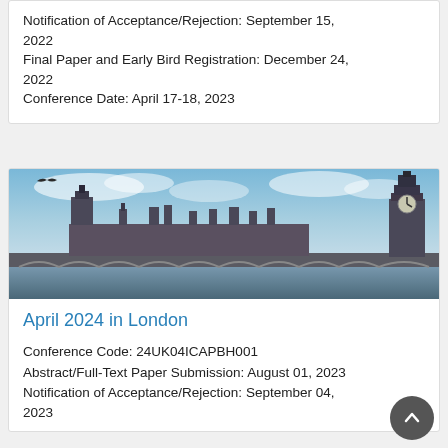Notification of Acceptance/Rejection: September 15, 2022
Final Paper and Early Bird Registration: December 24, 2022
Conference Date: April 17-18, 2023
[Figure (photo): Panoramic photograph of London skyline including Westminster Bridge, Houses of Parliament, and Big Ben under a cloudy sky with a bird in flight]
April 2024 in London
Conference Code: 24UK04ICAPBH001
Abstract/Full-Text Paper Submission: August 01, 2023
Notification of Acceptance/Rejection: September 04, 2023